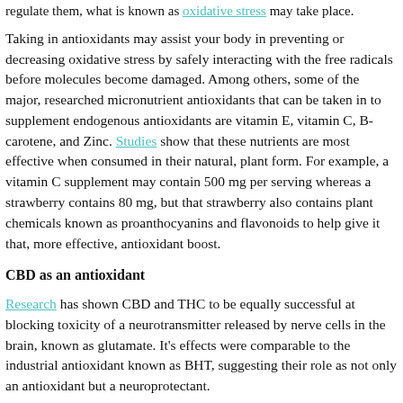regulate them, what is known as oxidative stress may take place.
Taking in antioxidants may assist your body in preventing or decreasing oxidative stress by safely interacting with the free radicals before molecules become damaged. Among others, some of the major, researched micronutrient antioxidants that can be taken in to supplement endogenous antioxidants are vitamin E, vitamin C, B-carotene, and Zinc. Studies show that these nutrients are most effective when consumed in their natural, plant form. For example, a vitamin C supplement may contain 500 mg per serving whereas a strawberry contains 80 mg, but that strawberry also contains plant chemicals known as proanthocyanins and flavonoids to help give it that, more effective, antioxidant boost.
CBD as an antioxidant
Research has shown CBD and THC to be equally successful at blocking toxicity of a neurotransmitter released by nerve cells in the brain, known as glutamate. It’s effects were comparable to the industrial antioxidant known as BHT, suggesting their role as not only an antioxidant but a neuroprotectant.
Additional studies have shown the therapeutic actions of CBD to reduce the force of oxidative stress in human disease models and